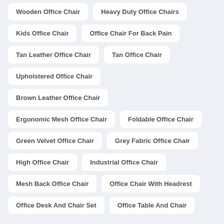Wooden Office Chair
Heavy Duty Office Chairs
Kids Office Chair
Office Chair For Back Pain
Tan Leather Office Chair
Tan Office Chair
Upholstered Office Chair
Brown Leather Office Chair
Ergonomic Mesh Office Chair
Foldable Office Chair
Green Velvet Office Chair
Grey Fabric Office Chair
High Office Chair
Industrial Office Chair
Mesh Back Office Chair
Office Chair With Headrest
Office Desk And Chair Set
Office Table And Chair